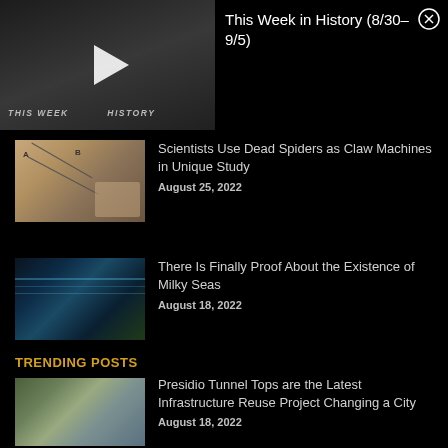[Figure (screenshot): Video thumbnail for 'This Week in History' with play button overlay and text 'THIS WEEK IN HISTORY']
This Week in History (8/30– 9/5)
[Figure (photo): Hand holding syringe near spider on paper with labels A and B]
Scientists Use Dead Spiders as Claw Machines in Unique Study
August 25, 2022
[Figure (photo): Bioluminescent waves crashing on dark rocky shore at night]
There Is Finally Proof About the Existence of Milky Seas
August 18, 2022
TRENDING POSTS
[Figure (photo): Aerial view of Presidio Tunnel Tops park area with city and bay in background]
Presidio Tunnel Tops are the Latest Infrastructure Reuse Project Changing a City
August 18, 2022